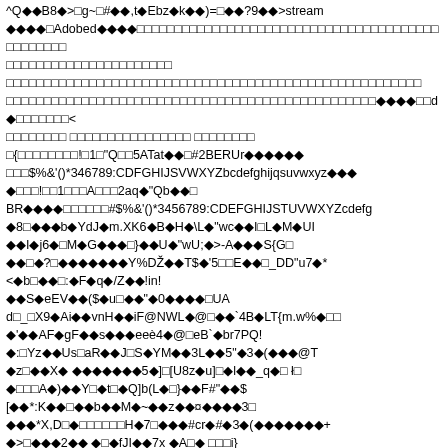Corrupted/binary PDF stream data with mixed readable ASCII characters and replacement characters (diamond question marks), typical of a damaged or partially decoded PDF binary stream.